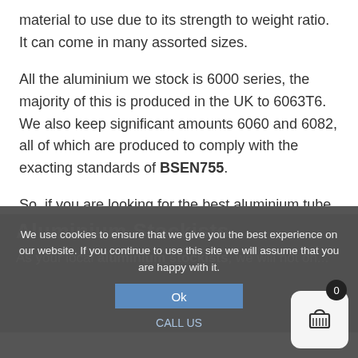material to use due to its strength to weight ratio. It can come in many assorted sizes.
All the aluminium we stock is 6000 series, the majority of this is produced in the UK to 6063T6. We also keep significant amounts 6060 and 6082, all of which are produced to comply with the exacting standards of BSEN755.
So, if you are looking for the best aluminium tube suppliers, look no further than aluminium online.
Aluminium Stockists
As your local aluminium stockists, we will not on...
We use cookies to ensure that we give you the best experience on our website. If you continue to use this site we will assume that you are happy with it.
Ok
CALL US